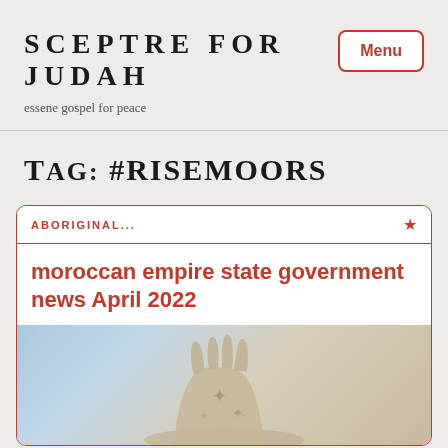SCEPTRE FOR JUDAH
essene gospel for peace
Tag: #risemoors
ABORIGINAL...
moroccan empire state government news April 2022
[Figure (photo): Stone statue or sculpture with star symbols, against a blue-white background]